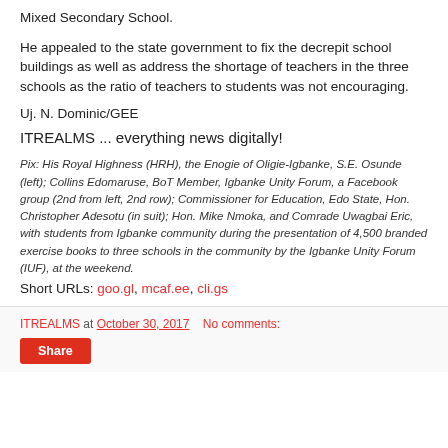Mixed Secondary School.
He appealed to the state government to fix the decrepit school buildings as well as address the shortage of teachers in the three schools as the ratio of teachers to students was not encouraging.
Uj. N. Dominic/GEE
ITREALMS ... everything news digitally!
Pix: His Royal Highness (HRH), the Enogie of Oligie-Igbanke, S.E. Osunde (left); Collins Edomaruse, BoT Member, Igbanke Unity Forum, a Facebook group (2nd from left, 2nd row); Commissioner for Education, Edo State, Hon. Christopher Adesotu (in suit); Hon. Mike Nmoka, and Comrade Uwagbai Eric, with students from Igbanke community during the presentation of 4,500 branded exercise books to three schools in the community by the Igbanke Unity Forum (IUF), at the weekend.
Short URLs: goo.gl, mcaf.ee, cli.gs
ITREALMS at October 30, 2017   No comments: